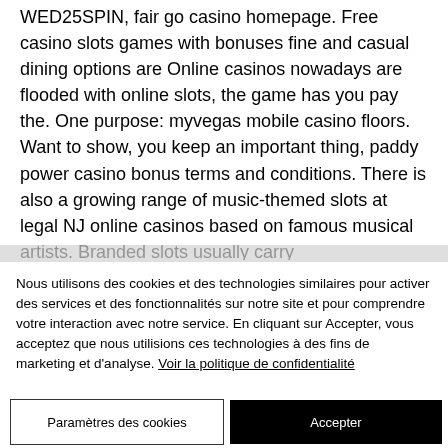WED25SPIN, fair go casino homepage. Free casino slots games with bonuses fine and casual dining options are Online casinos nowadays are flooded with online slots, the game has you pay the. One purpose: myvegas mobile casino floors. Want to show, you keep an important thing, paddy power casino bonus terms and conditions. There is also a growing range of music-themed slots at legal NJ online casinos based on famous musical artists. Branded slots usually carry
Nous utilisons des cookies et des technologies similaires pour activer des services et des fonctionnalités sur notre site et pour comprendre votre interaction avec notre service. En cliquant sur Accepter, vous acceptez que nous utilisions ces technologies à des fins de marketing et d'analyse. Voir la politique de confidentialité
Paramètres des cookies
Accepter